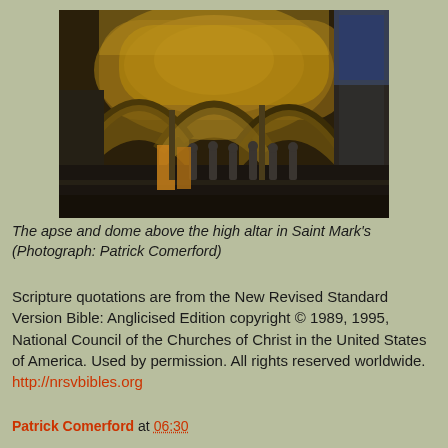[Figure (photo): Interior of Saint Mark's Basilica showing the apse and dome above the high altar, with golden mosaics, arches, and statues along a railing]
The apse and dome above the high altar in Saint Mark's (Photograph: Patrick Comerford)
Scripture quotations are from the New Revised Standard Version Bible: Anglicised Edition copyright © 1989, 1995, National Council of the Churches of Christ in the United States of America. Used by permission. All rights reserved worldwide. http://nrsvbibles.org
Patrick Comerford at 06:30